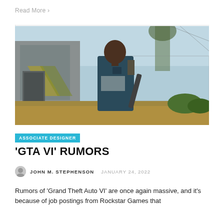Read More >
[Figure (photo): Screenshot from GTA V showing a character in a dark blue shirt holding a baseball bat, standing near a chain-link fence with buildings and palm trees in the background]
ASSOCIATE DESIGNER
'GTA VI' RUMORS
JOHN M. STEPHENSON   JANUARY 24, 2022
Rumors of 'Grand Theft Auto VI' are once again massive, and it's because of job postings from Rockstar Games that